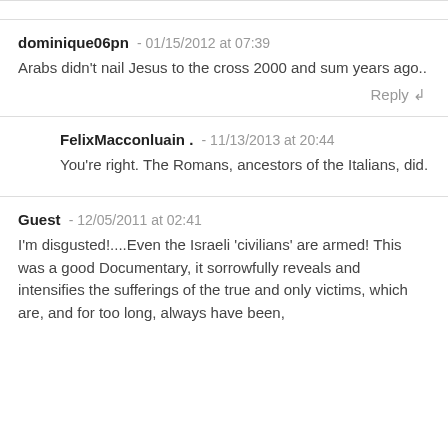dominique06pn - 01/15/2012 at 07:39
Arabs didn't nail Jesus to the cross 2000 and sum years ago..
Reply
FelixMacconluain . - 11/13/2013 at 20:44
You're right. The Romans, ancestors of the Italians, did.
Guest - 12/05/2011 at 02:41
I'm disgusted!....Even the Israeli 'civilians' are armed! This was a good Documentary, it sorrowfully reveals and intensifies the sufferings of the true and only victims, which are, and for too long, always have been,